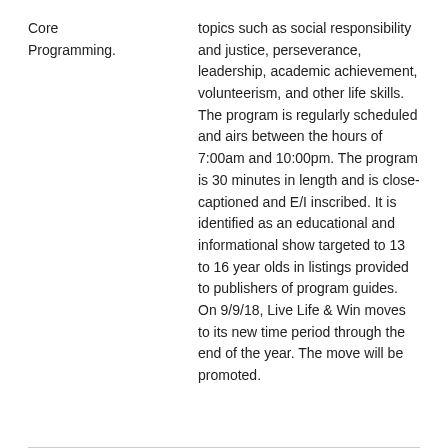Core Programming.
topics such as social responsibility and justice, perseverance, leadership, academic achievement, volunteerism, and other life skills. The program is regularly scheduled and airs between the hours of 7:00am and 10:00pm. The program is 30 minutes in length and is close-captioned and E/I inscribed. It is identified as an educational and informational show targeted to 13 to 16 year olds in listings provided to publishers of program guides. On 9/9/18, Live Life & Win moves to its new time period through the end of the year. The move will be promoted.